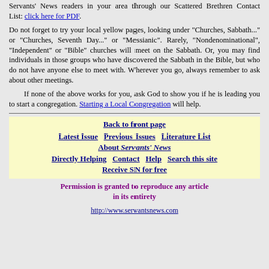Servants' News readers in your area through our Scattered Brethren Contact List: click here for PDF.
Do not forget to try your local yellow pages, looking under "Churches, Sabbath..." or "Churches, Seventh Day..." or "Messianic". Rarely, "Nondenominational", "Independent" or "Bible" churches will meet on the Sabbath. Or, you may find individuals in those groups who have discovered the Sabbath in the Bible, but who do not have anyone else to meet with. Wherever you go, always remember to ask about other meetings.
If none of the above works for you, ask God to show you if he is leading you to start a congregation. Starting a Local Congregation will help.
Back to front page
Latest Issue   Previous Issues   Literature List   About Servants' News
Directly Helping   Contact   Help   Search this site   Receive SN for free
Permission is granted to reproduce any article in its entirety
http://www.servantsnews.com